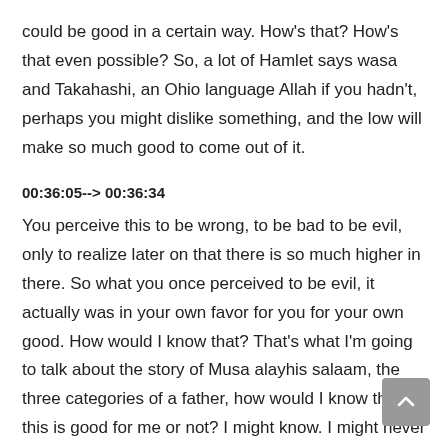could be good in a certain way. How's that? How's that even possible? So, a lot of Hamlet says wasa and Takahashi, an Ohio language Allah if you hadn't, perhaps you might dislike something, and the low will make so much good to come out of it.
00:36:05--> 00:36:34
You perceive this to be wrong, to be bad to be evil, only to realize later on that there is so much higher in there. So what you once perceived to be evil, it actually was in your own favor for you for your own good. How would I know that? That's what I'm going to talk about the story of Musa alayhis salaam, the three categories of a father, how would I know that this is good for me or not? I might know. I might never know. But I know for sure. Allah knows.